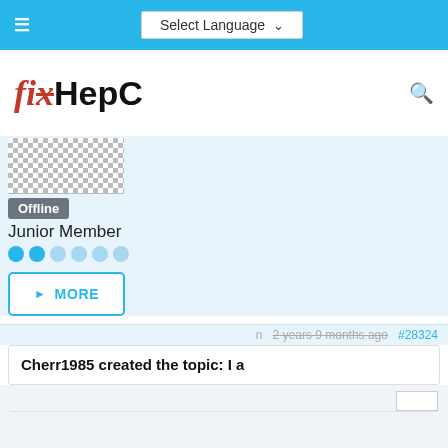Select Language
[Figure (logo): fixHepC logo with red stylized text]
Offline
Junior Member
MORE
2 years 9 months ago #28324
Cherr1985 created the topic: I a
I am gonna start the hep c treatment pretty soon I